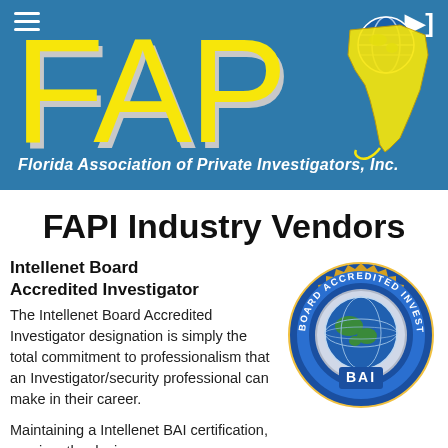[Figure (logo): FAPI logo — large yellow FAP letters with gray shadow on blue background, with Florida state map outline in yellow and a globe icon, plus tagline 'Florida Association of Private Investigators, Inc.']
FAPI Industry Vendors
Intellenet Board Accredited Investigator
The Intellenet Board Accredited Investigator designation is simply the total commitment to professionalism that an Investigator/security professional can make in their career.
Maintaining a Intellenet BAI certification, requires the designee
[Figure (logo): Circular seal badge reading 'BOARD ACCREDITED INVESTIGATOR' around the outside with 'BAI' at the bottom, featuring a globe/world map in the center, in blue, silver and white colors.]